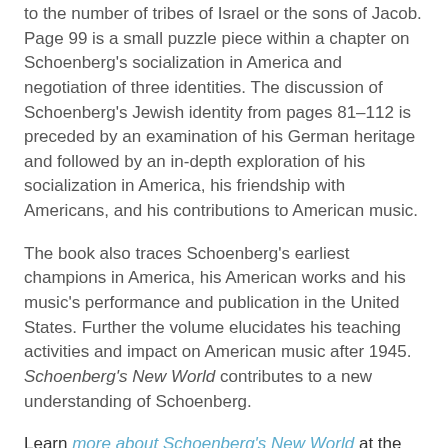to the number of tribes of Israel or the sons of Jacob. Page 99 is a small puzzle piece within a chapter on Schoenberg's socialization in America and negotiation of three identities. The discussion of Schoenberg's Jewish identity from pages 81–112 is preceded by an examination of his German heritage and followed by an in-depth exploration of his socialization in America, his friendship with Americans, and his contributions to American music.
The book also traces Schoenberg's earliest champions in America, his American works and his music's performance and publication in the United States. Further the volume elucidates his teaching activities and impact on American music after 1945. Schoenberg's New World contributes to a new understanding of Schoenberg.
Learn more about Schoenberg's New World at the Oxford University Press website, and visit Sabine Feisst's website.
--Marshal Zeringue